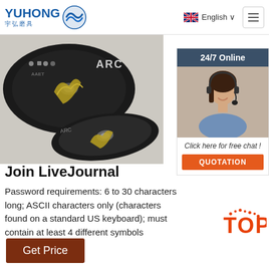[Figure (logo): Yuhong logo with blue text 'YUHONG' and Chinese characters '宇弘磨具' and blue wave/disc icon]
[Figure (screenshot): Language selector showing UK flag and 'English' with dropdown arrow, and hamburger menu icon]
[Figure (photo): Product photo of ARC abrasive cutting disc/grinding wheels, dark discs with yellow design on grey background]
[Figure (photo): Chat widget sidebar with '24/7 Online' header, photo of female customer service agent with headset, text 'Click here for free chat!' and orange QUOTATION button]
Join LiveJournal
Password requirements: 6 to 30 characters long; ASCII characters only (characters found on a standard US keyboard); must contain at least 4 different symbols
[Figure (logo): TOP badge in orange/red text with dots]
Get Price